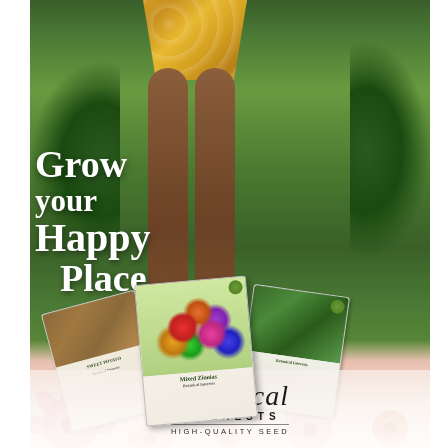[Figure (illustration): Botanical Interests seed catalog advertisement. Left half of the page shows a vertical banner ad with a woman in a yellow floral dress and green boots standing in a lush garden. Text overlay reads 'Grow your Happy Place'. Seed packet illustrations are shown in the lower portion. Bottom features the Botanical Interests logo with script 'Botanical', 'INTERESTS', and 'HIGH-QUALITY SEED'. Right half of the page is white/blank.]
Grow your Happy Place
Botanical INTERESTS HIGH-QUALITY SEED